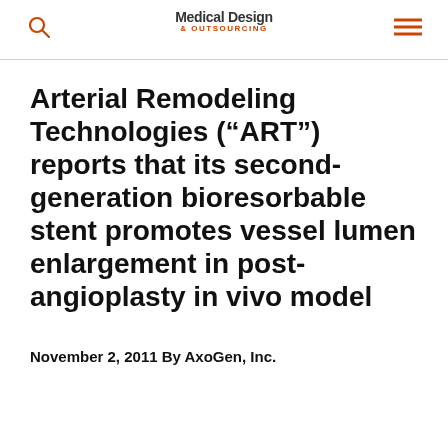Medical Design & Outsourcing
Arterial Remodeling Technologies (“ART”) reports that its second-generation bioresorbable stent promotes vessel lumen enlargement in post-angioplasty in vivo model
November 2, 2011 By AxoGen, Inc.